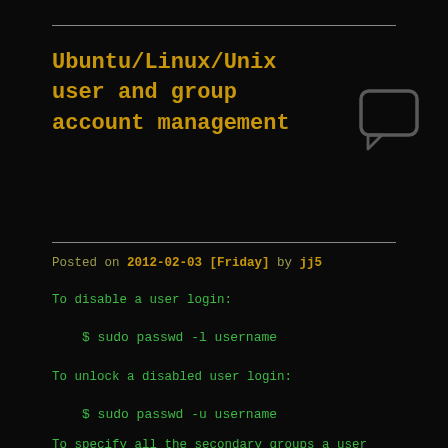Ubuntu/Linux/Unix user and group account management
Posted on 2012-02-03 [Friday] by jj5
To disable a user login:
$ sudo passwd -l username
To unlock a disabled user login:
$ sudo passwd -u username
To specify all the secondary groups a user should be in (if they're already in a group